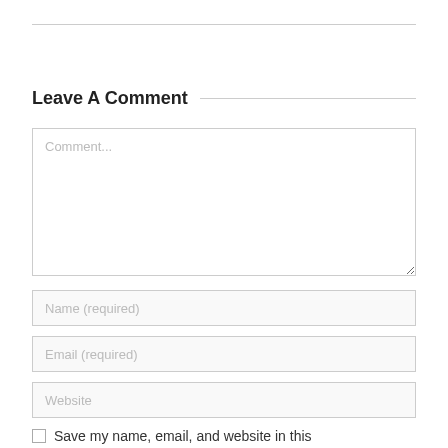Leave A Comment
Comment...
Name (required)
Email (required)
Website
Save my name, email, and website in this